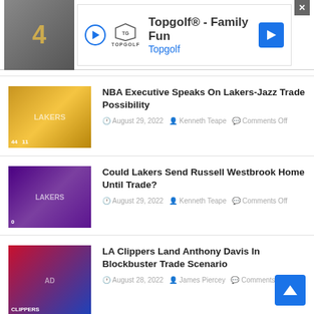[Figure (other): Topgolf advertisement banner with play button, Topgolf logo, text 'Topgolf® - Family Fun' and 'Topgolf', navigation arrow icon, and close button]
[Figure (photo): Lakers players in yellow jerseys, numbers 44 and 11]
NBA Executive Speaks On Lakers-Jazz Trade Possibility
August 29, 2022  Kenneth Teape  Comments Off
[Figure (photo): Russell Westbrook in Lakers jersey number 0, purple background]
Could Lakers Send Russell Westbrook Home Until Trade?
August 29, 2022  Kenneth Teape  Comments Off
[Figure (photo): Anthony Davis in Clippers jersey, red and blue]
LA Clippers Land Anthony Davis In Blockbuster Trade Scenario
August 28, 2022  James Piercey  Comments Off